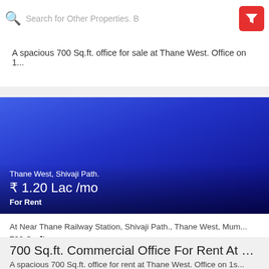Search for Other Properties. B
A spacious 700 Sq.ft. office for sale at Thane West. Office on 1...
[Figure (photo): Blue gradient property listing image for a commercial office space at Thane West, Shivaji Path]
Thane West, Shivaji Path.
₹ 1.20 Lac /mo
For Rent
At Near Thane Railway Station, Shivaji Path., Thane West, Mum...
700 Sq-ft
Commercial Office Space
700 Sq.ft. Commercial Office For Rent At Sh...
A spacious 700 Sq.ft. office for rent at Thane West. Office on 1s...